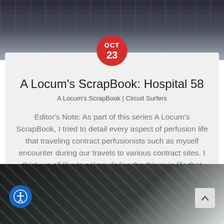[Figure (photo): Top photo of a building/hospital with grid-like architecture in dark blue/grey tones]
[Figure (infographic): Red circular date badge showing OCT 23]
A Locum's ScrapBook: Hospital 58
A Locum's ScrapBook | Circuit Surfers
Editor's Note: As part of this series A Locum's ScrapBook, I tried to detail every aspect of perfusion life that traveling contract perfusionists such as myself encounter during our travels to various contract sites. I think we all like to acknowledge the things in life that make it just a little easier to do the things…
[Figure (photo): Bottom photo showing dark fabric/clothing with teal/mint colored pattern prints]